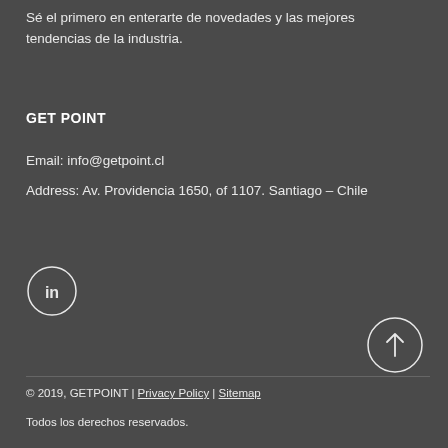Sé el primero en enterarte de novedades y las mejores tendencias de la industria.
GET POINT
Email: info@getpoint.cl
Address: Av. Providencia 1650, of 1107. Santiago – Chile
[Figure (logo): LinkedIn icon — circular outline with 'in' text inside]
[Figure (other): Up arrow icon — circular outline with upward arrow inside]
© 2019, GETPOINT | Privacy Policy | Sitemap
Todos los derechos reservados.